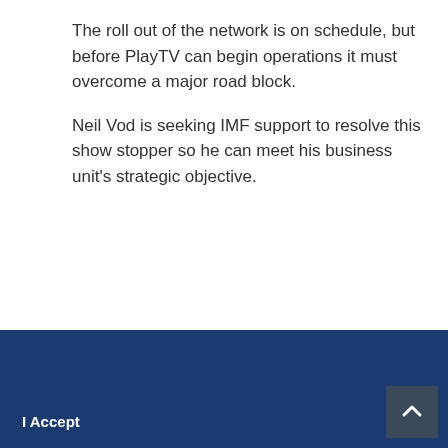The roll out of the network is on schedule, but before PlayTV can begin operations it must overcome a major road block.
Neil Vod is seeking IMF support to resolve this show stopper so he can meet his business unit's strategic objective.
We use technologies such as cookies to understand how you use our site and to provide a better user experience. This includes personalizing content, using analytics and improving site operations. We may share your information about your use of our site with third parties in accordance with our Privacy Policy. You can change your cookie settings as described here at any time, but parts of our site may not function correctly without them. By continuing to use our site, you agree that we can save cookies on your device, unless you have disabled cookies.
I Accept